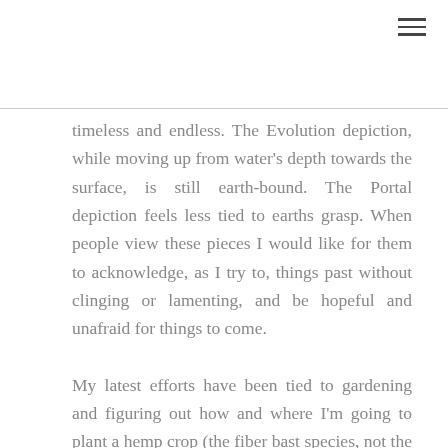timeless and endless. The Evolution depiction, while moving up from water's depth towards the surface, is still earth-bound. The Portal depiction feels less tied to earths grasp. When people view these pieces I would like for them to acknowledge, as I try to, things past without clinging or lamenting, and be hopeful and unafraid for things to come.
My latest efforts have been tied to gardening and figuring out how and where I'm going to plant a hemp crop (the fiber bast species, not the marijuana one) to make yarn using a blending of my alpaca fleece.
I've recently decided to be more proactive in sharing my work, and have a website